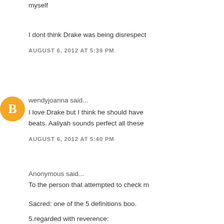myself
I dont think Drake was being disrespect
AUGUST 6, 2012 AT 5:39 PM
wendyjoanna said...
I love Drake but I think he should have beats. Aaliyah sounds perfect all these
AUGUST 6, 2012 AT 5:40 PM
Anonymous said...
To the person that attempted to check m
Sacred: one of the 5 definitions boo.
5.regarded with reverence:
AUGUST 6, 2012 AT 6:24 PM
Anonymous said...
up and coming rapper out of philly chec
AUGUST 6, 2012 AT 6:53 PM
Anonymous said...